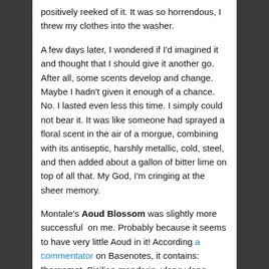positively reeked of it. It was so horrendous, I threw my clothes into the washer.
A few days later, I wondered if I'd imagined it and thought that I should give it another go. After all, some scents develop and change. Maybe I hadn't given it enough of a chance. No. I lasted even less this time. I simply could not bear it. It was like someone had sprayed a floral scent in the air of a morgue, combining with its antiseptic, harshly metallic, cold, steel, and then added about a gallon of bitter lime on top of all that. My God, I'm cringing at the sheer memory.
Montale's Aoud Blossom was slightly more successful on me. Probably because it seems to have very little Aoud in it! According a commentator on Basenotes, it contains: "bergamot, Sicilian mandarin, ylang ylang, violet, jasmine sambac, tuberose, rose, Mysore sandalwood, Arabian oud."  Many seem to think there is little to no real Aoud in it. I disagree. I can definitely smell it in the opening minutes, faint though it may be. Someone says they can smell the tuberose in it. I love tuberose and I get